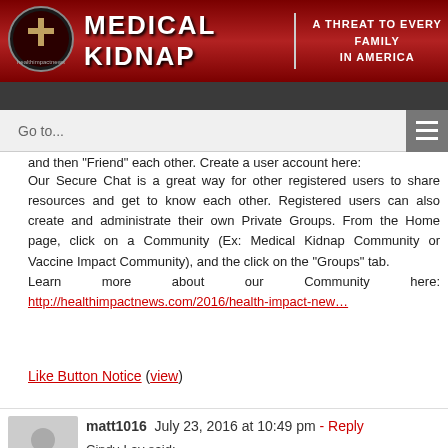MEDICAL KIDNAP | A THREAT TO EVERY FAMILY IN AMERICA
and then "Friend" each other. Create a user account here:
Our Secure Chat is a great way for other registered users to share resources and get to know each other. Registered users can also create and administrate their own Private Groups. From the Home page, click on a Community (Ex: Medical Kidnap Community or Vaccine Impact Community), and the click on the "Groups" tab.
Learn more about our Community here: http://healthimpactnews.com/2016/health-impact-new…
Like Button Notice (view)
matt1016  July 23, 2016 at 10:49 pm - Reply
Cindy-Lay said:
I obviously have the next largest landmark case against Orangw County CPS. My name is Cindy Diane Lay. Last I heard, there was a $40,000 hit on my life